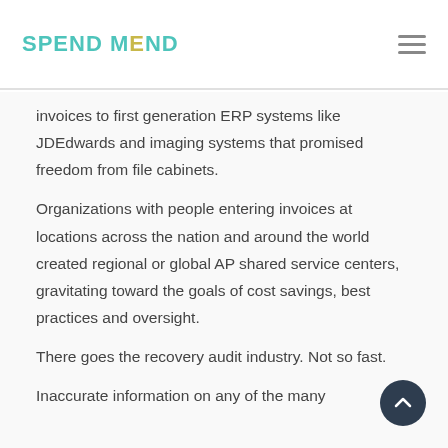SPEND MEND
invoices to first generation ERP systems like JDEdwards and imaging systems that promised freedom from file cabinets.
Organizations with people entering invoices at locations across the nation and around the world created regional or global AP shared service centers, gravitating toward the goals of cost savings, best practices and oversight.
There goes the recovery audit industry. Not so fast.
Inaccurate information on any of the many